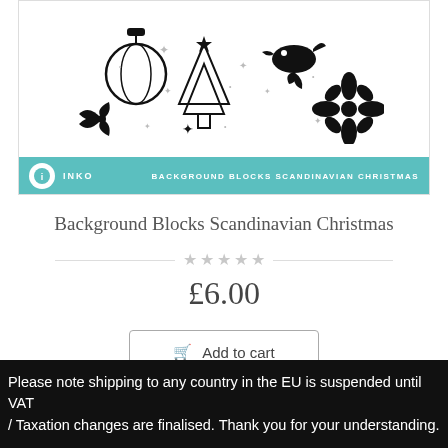[Figure (illustration): Black and white illustration of Scandinavian Christmas decorations including a bauble ornament, bow, Christmas tree, bird, poinsettia flower, snowflakes, and stars, with a teal brand bar at bottom showing Inko logo and 'Background Blocks Scandinavian Christmas' text]
Background Blocks Scandinavian Christmas
★★★★★
£6.00
🛒 Add to cart
Please note shipping to any country in the EU is suspended until VAT / Taxation changes are finalised. Thank you for your understanding.